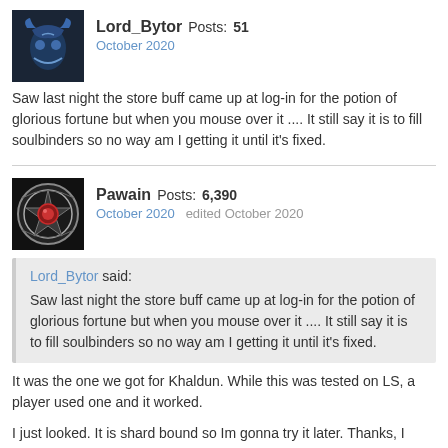[Figure (illustration): Avatar image for Lord_Bytor, dark background with a creature/monster figure in blue tones]
Lord_Bytor  Posts: 51
October 2020
Saw last night the store buff came up at log-in for the potion of glorious fortune but when you mouse over it .... It still say it is to fill soulbinders so no way am I getting it until it's fixed.
[Figure (illustration): Avatar image for Pawain, dark background with an ornate circular badge/emblem with a red gem]
Pawain  Posts: 6,390
October 2020   edited October 2020
Lord_Bytor said:
Saw last night the store buff came up at log-in for the potion of glorious fortune but when you mouse over it .... It still say it is to fill soulbinders so no way am I getting it until it's fixed.
It was the one we got for Khaldun.  While this was tested on LS, a player used one and it worked.
I just looked.  It is shard bound so Im gonna try it later.  Thanks, I logged out at the entrance so I did not get a store pop up.